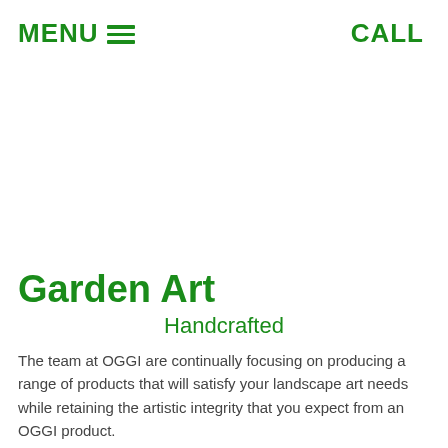MENU  CALL
Garden Art
Handcrafted
The team at OGGI are continually focusing on producing a range of products that will satisfy your landscape art needs while retaining the artistic integrity that you expect from an OGGI product.